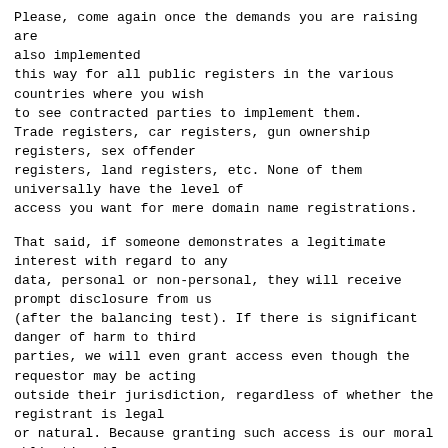Please, come again once the demands you are raising are also implemented
this way for all public registers in the various countries where you wish
to see contracted parties to implement them.
Trade registers, car registers, gun ownership registers, sex offender
registers, land registers, etc. None of them universally have the level of
access you want for mere domain name registrations.
That said, if someone demonstrates a legitimate interest with regard to any
data, personal or non-personal, they will receive prompt disclosure from us
(after the balancing test). If there is significant danger of harm to third
parties, we will even grant access even though the requestor may be acting
outside their jurisdiction, regardless of whether the registrant is legal
or natural. Because granting such access is our moral obligation if a case
for disclosure is made.
But please do not ask us to provide access levels that even our own
governments do not provide for much, much, much more critical data.